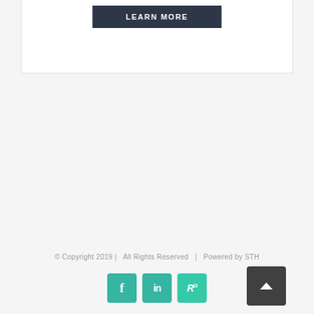[Figure (other): LEARN MORE button in dark navy/charcoal color with white uppercase text]
© Copyright 2019 |   All Rights Reserved   |   Powered by STH
[Figure (other): Social media icons: Facebook (f), LinkedIn (in), ResearchGate (RG) in teal, and a dark back-to-top arrow button]